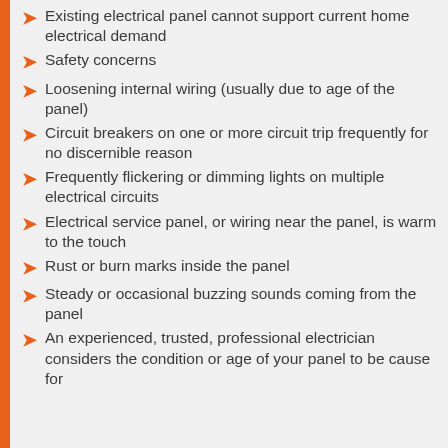Existing electrical panel cannot support current home electrical demand
Safety concerns
Loosening internal wiring (usually due to age of the panel)
Circuit breakers on one or more circuit trip frequently for no discernible reason
Frequently flickering or dimming lights on multiple electrical circuits
Electrical service panel, or wiring near the panel, is warm to the touch
Rust or burn marks inside the panel
Steady or occasional buzzing sounds coming from the panel
An experienced, trusted, professional electrician considers the condition or age of your panel to be cause for